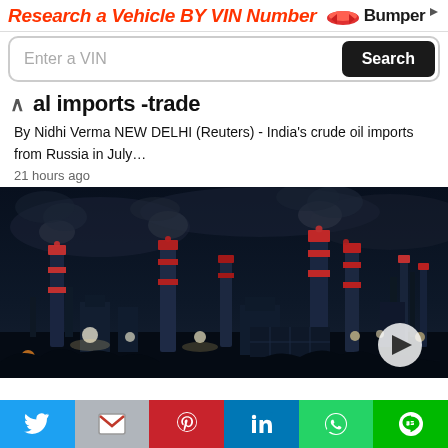[Figure (screenshot): Advertisement banner for Bumper.com: 'Research a Vehicle BY VIN Number' with orange/red italic bold text, Bumper logo with car icon, and a search input field with 'Enter a VIN' placeholder and a black 'Search' button.]
…al imports -trade
By Nidhi Verma NEW DELHI (Reuters) - India's crude oil imports from Russia in July…
21 hours ago
[Figure (photo): Night-time photograph of an industrial oil refinery with smokestacks, flares, and bright lights against a dark blue sky. A play button icon is visible in the lower right corner.]
[Figure (screenshot): Social sharing bar at the bottom with icons for Twitter (blue), Gmail/email (grey), Pinterest (red), LinkedIn (blue), WhatsApp (green), and Line (green).]